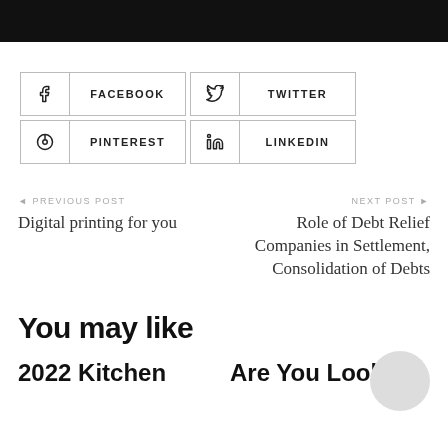[Figure (photo): Dark/black image at the top of the page, partial view of a photo]
FACEBOOK
TWITTER
PINTEREST
LINKEDIN
◄ PREVIOUS POST
Digital printing for you
NEXT POST ►
Role of Debt Relief Companies in Settlement, Consolidation of Debts
You may like
2022 Kitchen
Are You Looking